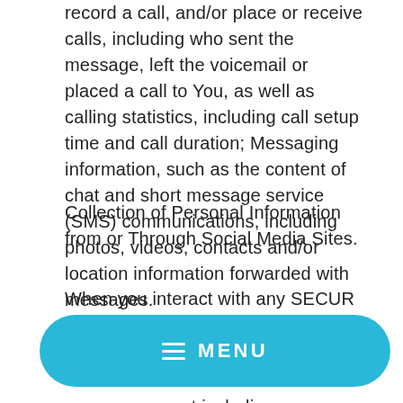record a call, and/or place or receive calls, including who sent the message, left the voicemail or placed a call to You, as well as calling statistics, including call setup time and call duration; Messaging information, such as the content of chat and short message service (SMS) communications, including photos, videos, contacts and/or location information forwarded with messages.
Collection of Personal Information from or Through Social Media Sites.
When you interact with any SECUR website, page
[Figure (other): Blue pill-shaped MENU button with hamburger icon]
page or account including your account ID or